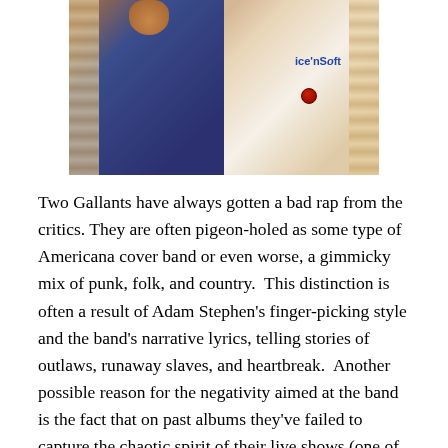[Figure (photo): A photograph of two people standing side by side. The person on the left is wearing a dark navy/blue outfit. The person on the right is wearing a white t-shirt with 'Ice'n Soft' text and a logo. There appear to be patterned curtains in the background.]
Two Gallants have always gotten a bad rap from the critics. They are often pigeon-holed as some type of Americana cover band or even worse, a gimmicky mix of punk, folk, and country.  This distinction is often a result of Adam Stephen's finger-picking style and the band's narrative lyrics, telling stories of outlaws, runaway slaves, and heartbreak.  Another possible reason for the negativity aimed at the band is the fact that on past albums they've failed to capture the chaotic spirit of their live shows (one of the best live bands out there today).